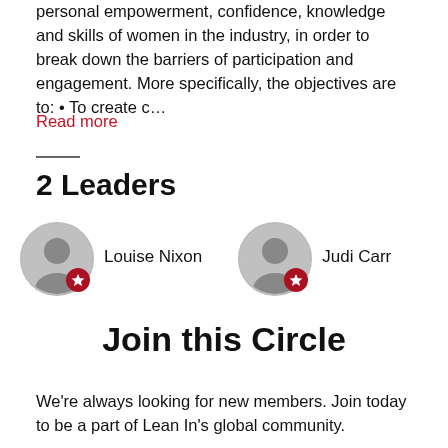personal empowerment, confidence, knowledge and skills of women in the industry, in order to break down the barriers of participation and engagement. More specifically, the objectives are to: • To create c…
Read more
2 Leaders
[Figure (illustration): Leader profile: Louise Nixon with avatar icon and red star badge]
[Figure (illustration): Leader profile: Judi Carr with avatar icon and red star badge]
Join this Circle
We're always looking for new members. Join today to be a part of Lean In's global community.